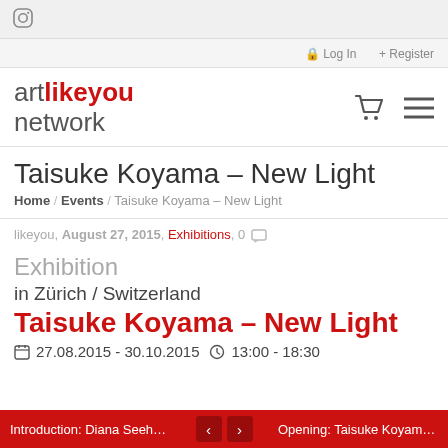[Figure (screenshot): Instagram icon (square camera outline) in the top bar]
Log In  Register
[Figure (logo): artlikeyou network logo — 'art' in gray, 'likeyou' in bold red, 'network' in gray below]
Taisuke Koyama – New Light
Home / Events / Taisuke Koyama – New Light
likeyou, August 27, 2015, Exhibitions, 0
Exhibition
in Zürich / Switzerland
Taisuke Koyama – New Light
27.08.2015 - 30.10.2015   13:00 - 18:30
Introduction: Diana Seeholzer - ...   <   >   Opening: Taisuke Koyama - New...